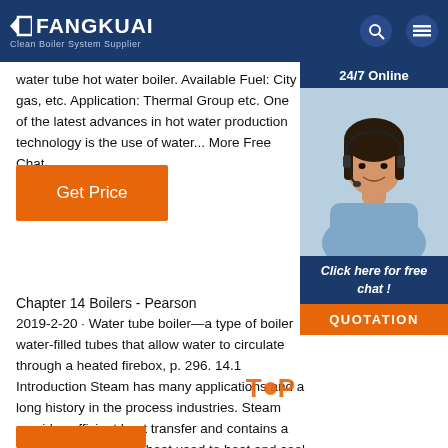FANGKUAI Clean Boiler System Supplier
water tube hot water boiler. Available Fuel: City gas, etc. Application: Thermal Group etc. One of the latest advances in hot water production technology is the use of water... More Free Chat
Get Price
[Figure (photo): Customer service representative with headset, chat widget with 24/7 Online banner, Click here for free chat text, and QUOTATION button]
Chapter 14 Boilers - Pearson
2019-2-20 · Water tube boiler—a type of boiler water-filled tubes that allow water to circulate through a heated firebox, p. 296. 14.1 Introduction Steam has many applications and a long history in the process industries. Steam provides efficient heat transfer and contains a high amount of latent heat used to heat and cool